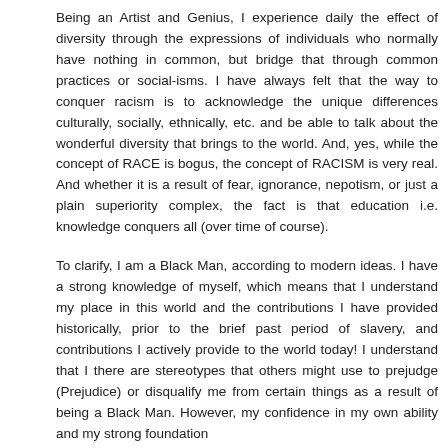Being an Artist and Genius, I experience daily the effect of diversity through the expressions of individuals who normally have nothing in common, but bridge that through common practices or social-isms. I have always felt that the way to conquer racism is to acknowledge the unique differences culturally, socially, ethnically, etc. and be able to talk about the wonderful diversity that brings to the world. And, yes, while the concept of RACE is bogus, the concept of RACISM is very real. And whether it is a result of fear, ignorance, nepotism, or just a plain superiority complex, the fact is that education i.e. knowledge conquers all (over time of course).
To clarify, I am a Black Man, according to modern ideas. I have a strong knowledge of myself, which means that I understand my place in this world and the contributions I have provided historically, prior to the brief past period of slavery, and contributions I actively provide to the world today! I understand that I there are stereotypes that others might use to prejudge (Prejudice) or disqualify me from certain things as a result of being a Black Man. However, my confidence in my own ability and my strong foundation